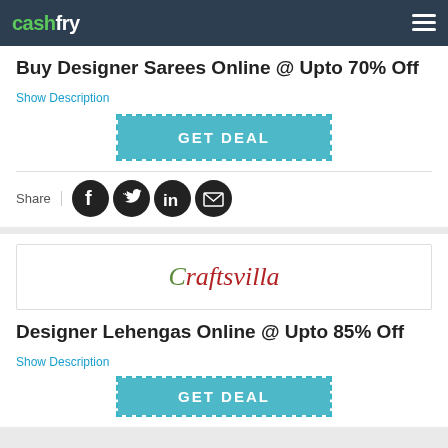cashfry
Buy Designer Sarees Online @ Upto 70% Off
Show Description
GET DEAL
Share
[Figure (logo): Craftsvilla brand logo in italic serif font, dark red and green colors]
Designer Lehengas Online @ Upto 85% Off
Show Description